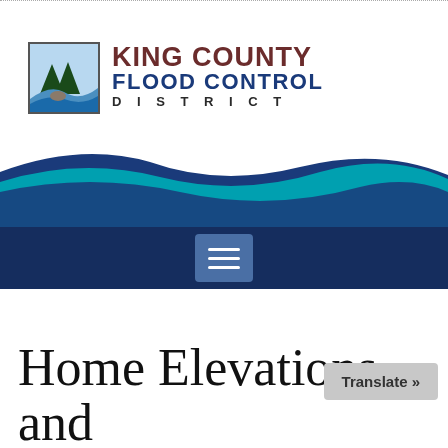[Figure (logo): King County Flood Control District logo with icon showing a river/flood scene with trees, and text 'KING COUNTY FLOOD CONTROL DISTRICT']
[Figure (illustration): Wave/water graphic banner in blue and teal colors forming a wave shape]
[Figure (screenshot): Dark navy navigation bar with a hamburger menu button (three white horizontal lines on a blue-grey square background)]
Home Elevations and Buyouts